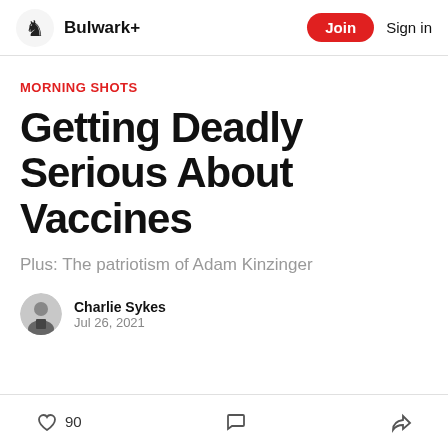Bulwark+  Join  Sign in
MORNING SHOTS
Getting Deadly Serious About Vaccines
Plus: The patriotism of Adam Kinzinger
Charlie Sykes
Jul 26, 2021
90 [like] [comment] [share]